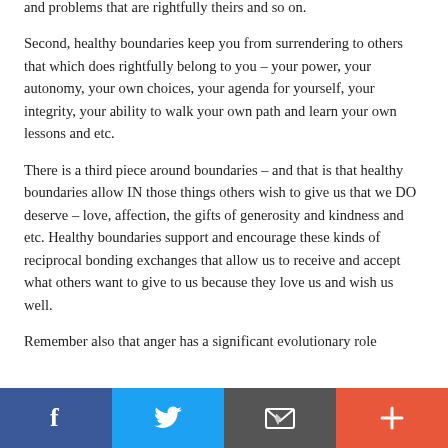and problems that are rightfully theirs and so on.
Second, healthy boundaries keep you from surrendering to others that which does rightfully belong to you – your power, your autonomy, your own choices, your agenda for yourself, your integrity, your ability to walk your own path and learn your own lessons and etc.
There is a third piece around boundaries – and that is that healthy boundaries allow IN those things others wish to give us that we DO deserve – love, affection, the gifts of generosity and kindness and etc. Healthy boundaries support and encourage these kinds of reciprocal bonding exchanges that allow us to receive and accept what others want to give to us because they love us and wish us well.
Remember also that anger has a significant evolutionary role